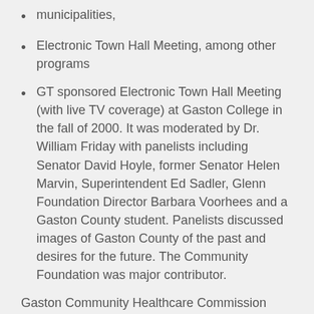municipalities,
Electronic Town Hall Meeting, among other programs
GT sponsored Electronic Town Hall Meeting (with live TV coverage) at Gaston College in the fall of 2000. It was moderated by Dr. William Friday with panelists including Senator David Hoyle, former Senator Helen Marvin, Superintendent Ed Sadler, Glenn Foundation Director Barbara Voorhees and a Gaston County student. Panelists discussed images of Gaston County of the past and desires for the future. The Community Foundation was major contributor.
Gaston Community Healthcare Commission formed an alliance with GT in 2002 under the leadership of Wayne Shovelin, 2001 GT Chairman. CaroMont Health originally provided